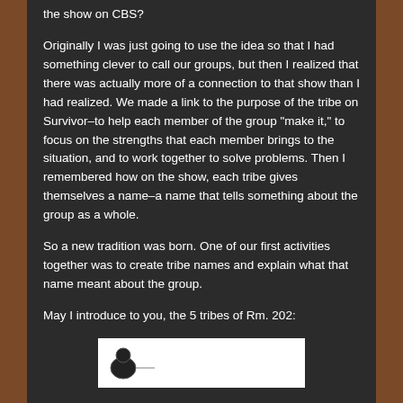the show on CBS?
Originally I was just going to use the idea so that I had something clever to call our groups, but then I realized that there was actually more of a connection to that show than I had realized.  We made a link to the purpose of the tribe on Survivor–to help each member of the group "make it," to focus on the strengths that each member brings to the situation, and to work together to solve problems.  Then I remembered how on the show, each tribe gives themselves a name–a name that tells something about the group as a whole.
So a new tradition was born.  One of our first activities together was to create tribe names and explain what that name meant about the group.
May I introduce to you, the 5 tribes of Rm. 202:
[Figure (illustration): White rectangular image at bottom showing part of an illustration, partially visible at page bottom.]